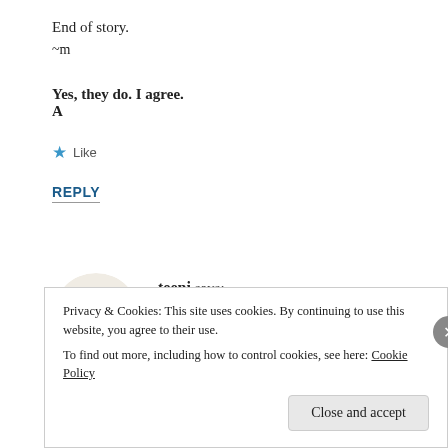End of story.
~m
Yes, they do. I agree.
A
★ Like
REPLY
teeni says:
February 26, 2008 at 9:31 pm
Privacy & Cookies: This site uses cookies. By continuing to use this website, you agree to their use.
To find out more, including how to control cookies, see here: Cookie Policy
Close and accept